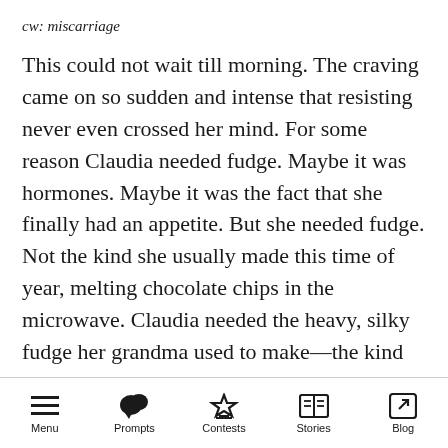cw: miscarriage
This could not wait till morning. The craving came on so sudden and intense that resisting never even crossed her mind. For some reason Claudia needed fudge. Maybe it was hormones. Maybe it was the fact that she finally had an appetite. But she needed fudge. Not the kind she usually made this time of year, melting chocolate chips in the microwave. Claudia needed the heavy, silky fudge her grandma used to make—the kind you made in a saucepan with a candy thermometer.
Did you need a double broiler? Claudia wasn't
Menu  Prompts  Contests  Stories  Blog